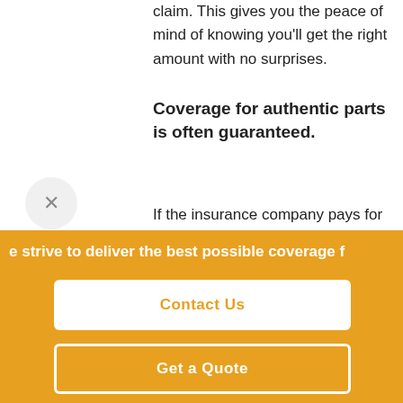claim. This gives you the peace of mind of knowing you'll get the right amount with no surprises.
Coverage for authentic parts is often guaranteed.
If the insurance company pays for repairs after a collision, your classic car policy will often guarantee to pay for necessary and authentic parts that might be excluded or exceed
e strive to deliver the best possible coverage f
Contact Us
Get a Quote